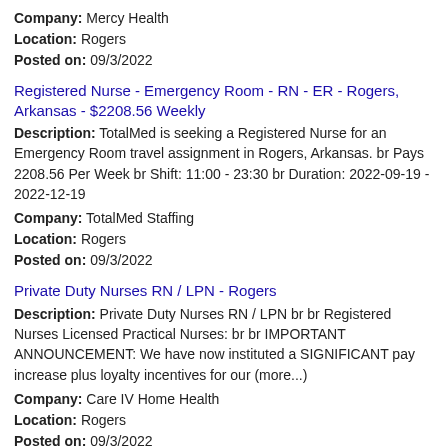Company: Mercy Health
Location: Rogers
Posted on: 09/3/2022
Registered Nurse - Emergency Room - RN - ER - Rogers, Arkansas - $2208.56 Weekly
Description: TotalMed is seeking a Registered Nurse for an Emergency Room travel assignment in Rogers, Arkansas. br Pays 2208.56 Per Week br Shift: 11:00 - 23:30 br Duration: 2022-09-19 - 2022-12-19
Company: TotalMed Staffing
Location: Rogers
Posted on: 09/3/2022
Private Duty Nurses RN / LPN - Rogers
Description: Private Duty Nurses RN / LPN br br Registered Nurses Licensed Practical Nurses: br br IMPORTANT ANNOUNCEMENT: We have now instituted a SIGNIFICANT pay increase plus loyalty incentives for our (more...)
Company: Care IV Home Health
Location: Rogers
Posted on: 09/3/2022
Travel Nurse RN - Med Surg - $2,575 per week